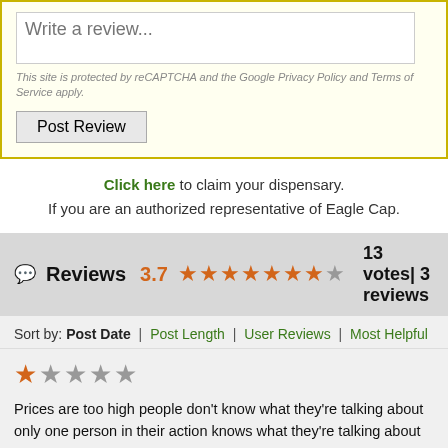[Figure (screenshot): Review form textarea with placeholder 'Write a review...' on yellow background]
This site is protected by reCAPTCHA and the Google Privacy Policy and Terms of Service apply.
Post Review
Click here to claim your dispensary. If you are an authorized representative of Eagle Cap.
Reviews 3.7 ★★★★★★★☆ 13 votes| 3 reviews
Sort by: Post Date | Post Length | User Reviews | Most Helpful
★☆☆☆☆
Prices are too high people don't know what they're talking about only one person in their action knows what they're talking about and the poor guy seems to have all the work on his shoulders so I do not recommend this dispensary not to mention I know their prices are quadruple what they